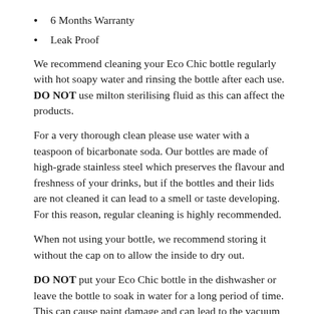6 Months Warranty
Leak Proof
We recommend cleaning your Eco Chic bottle regularly with hot soapy water and rinsing the bottle after each use. DO NOT use milton sterilising fluid as this can affect the products.
For a very thorough clean please use water with a teaspoon of bicarbonate soda. Our bottles are made of high-grade stainless steel which preserves the flavour and freshness of your drinks, but if the bottles and their lids are not cleaned it can lead to a smell or taste developing. For this reason, regular cleaning is highly recommended.
When not using your bottle, we recommend storing it without the cap on to allow the inside to dry out.
DO NOT put your Eco Chic bottle in the dishwasher or leave the bottle to soak in water for a long period of time. This can cause paint damage and can lead to the vacuum becoming ineffective.